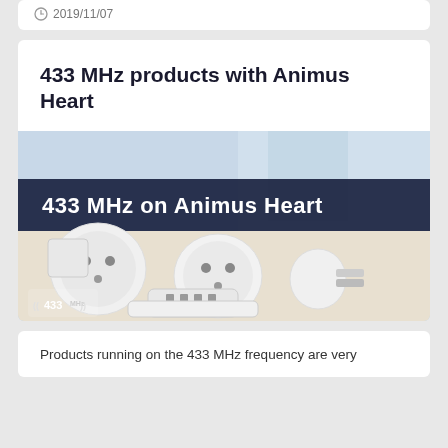2019/11/07
433 MHz products with Animus Heart
[Figure (photo): Photo of multiple white 433 MHz smart plugs and remote controls arranged on a white surface, with a dark navy banner overlay reading '433 MHz on Animus Heart' and a 433MHz logo in the bottom left corner.]
Products running on the 433 MHz frequency are very